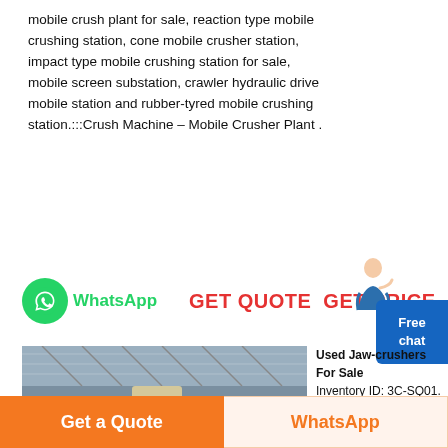mobile crush plant for sale, reaction type mobile crushing station, cone mobile crusher station, impact type mobile crushing station for sale, mobile screen substation, crawler hydraulic drive mobile station and rubber-tyred mobile crushing station.:::Crush Machine – Mobile Crusher Plant .
[Figure (infographic): WhatsApp icon with green logo and label, GET QUOTE and GET PRICE text in red, female figure illustration, Free chat blue box on right]
[Figure (photo): Industrial mobile crushing plant machinery inside large warehouse/factory building]
Used Jaw-crushers For Sale
Inventory ID: 3C-SQ01. - Model C160 Jaw Crusher 1600 mm x 1200 mm
Get a Quote
WhatsApp